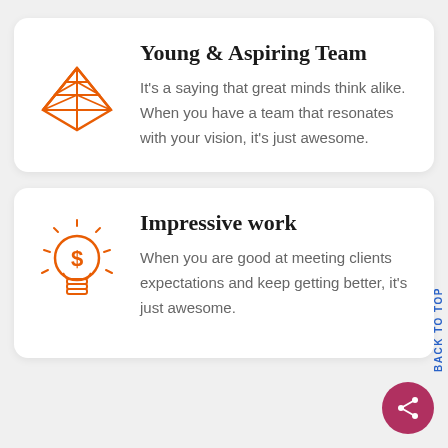[Figure (illustration): Orange geometric pyramid/diamond icon with leaf/triangle pattern]
Young & Aspiring Team
It's a saying that great minds think alike. When you have a team that resonates with your vision, it's just awesome.
[Figure (illustration): Orange lightbulb icon with dollar sign inside and rays around it]
Impressive work
When you are good at meeting clients expectations and keep getting better, it's just awesome.